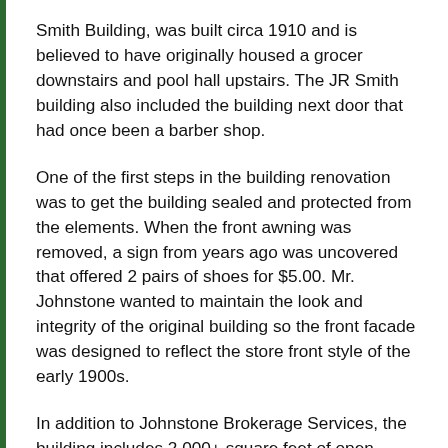Smith Building, was built circa 1910 and is believed to have originally housed a grocer downstairs and pool hall upstairs. The JR Smith building also included the building next door that had once been a barber shop.
One of the first steps in the building renovation was to get the building sealed and protected from the elements. When the front awning was removed, a sign from years ago was uncovered that offered 2 pairs of shoes for $5.00. Mr. Johnstone wanted to maintain the look and integrity of the original building so the front facade was designed to reflect the store front style of the early 1900s.
In addition to Johnstone Brokerage Services, the building includes 2,000+ square feet of open space that is wired to accommodate as many as 20 workstation cubicles with high-speed internet. Until the cubicles are needed, the upstairs space will be used as a recreation and conference area with a refrigerator, ice machine, pinball machines